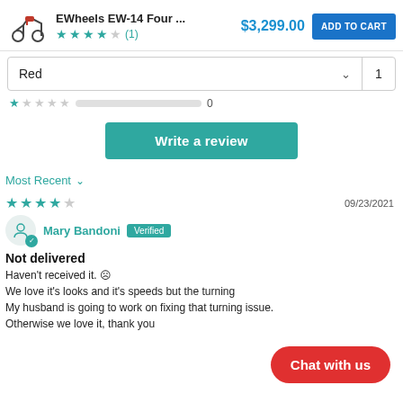[Figure (screenshot): Product listing bar with scooter image, title 'EWheels EW-14 Four ...', price $3,299.00, ADD TO CART button, and 4-star rating with (1) review]
Red
1
[Figure (other): 1-star rating row with empty progress bar and count 0]
Write a review
Most Recent
09/23/2021
[Figure (other): 4-star rating (4 out of 5 stars)]
Mary Bandoni Verified
Not delivered
Haven't received it. ☹
We love it's looks and it's speeds but the turning
My husband is going to work on fixing that turning issue.
Otherwise we love it, thank you
Chat with us